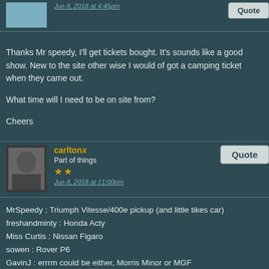Jun 8, 2018 at 4:45pm
Thanks Mr speedy, I'll get tickets bought. It's sounds like a good show. New to the site other wise I would of got a camping ticket when they came out.

What time will I need to be on site from?

Cheers
carltonx
Part of things
Jun 8, 2018 at 11:00pm
MrSpeedy ; Triumph Vitesse/400e pickup (and little tikes car)
freshandminty : Honda Acty
Miss Curtis : Nissan Figaro
sowen : Rover P6
GavinJ : errrm could be either, Morris Minor or MGF
adam73bgt : BMW '520i' 3.0 stroker
paulwhisker : Mk5 Cortina V6 widebody
Carltonx : mgb gt
Alan : rag top moggy
MrSpeedy
East Midlands